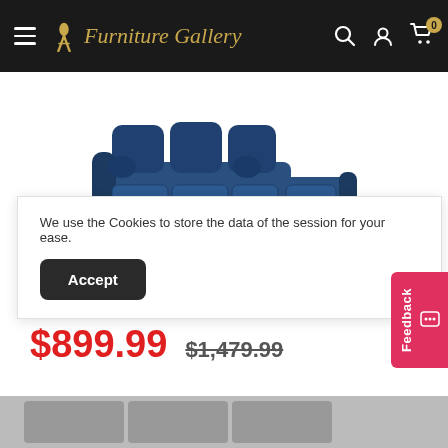Furniture Gallery — navigation header
[Figure (photo): Blue fabric sofa chaise lounge product photo on white background]
SIGNATURE DESIGN BY ASHLEY®
Darcy Sofa Chaise
$899.99  $1,479.99
We use the Cookies to store the data of the session for your ease.
Accept